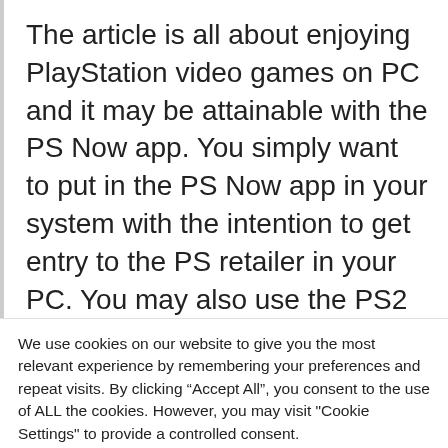The article is all about enjoying PlayStation video games on PC and it may be attainable with the PS Now app. You simply want to put in the PS Now app in your system with the intention to get entry to the PS retailer in your PC. You may also use the PS2 emulator for computer to play all of the video games. One other factor you require is to have a PlayStation Community account together with the registered cost particulars. To manage the sport it
We use cookies on our website to give you the most relevant experience by remembering your preferences and repeat visits. By clicking “Accept All”, you consent to the use of ALL the cookies. However, you may visit "Cookie Settings" to provide a controlled consent.